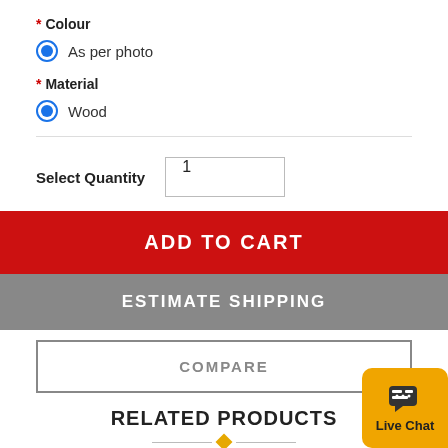* Colour
As per photo
* Material
Wood
Select Quantity  1
ADD TO CART
ESTIMATE SHIPPING
COMPARE
RELATED PRODUCTS
[Figure (other): Live Chat widget button in orange with chat bubble icon]